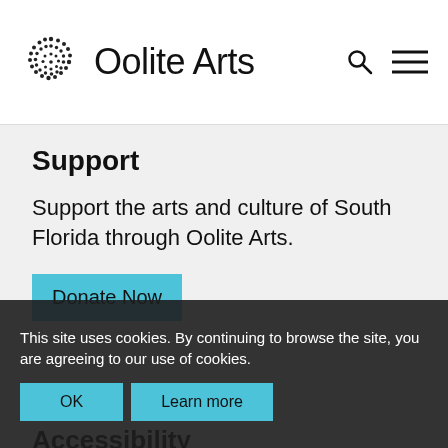Oolite Arts
Support
Support the arts and culture of South Florida through Oolite Arts.
Donate Now
Accessibility
Oolite Arts is committed to making its website, programs, and facilities accessible to all our visitors. Please contact us at
This site uses cookies. By continuing to browse the site, you are agreeing to our use of cookies.
OK
Learn more